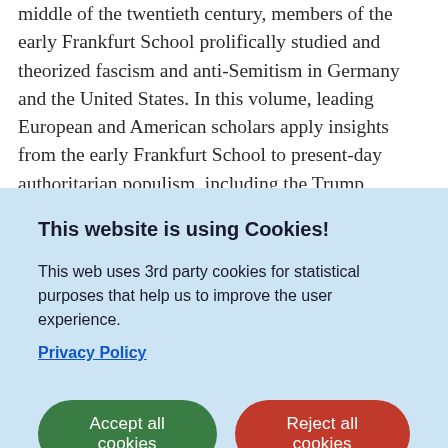middle of the twentieth century, members of the early Frankfurt School prolifically studied and theorized fascism and anti-Semitism in Germany and the United States. In this volume, leading European and American scholars apply insights from the early Frankfurt School to present-day authoritarian populism, including the Trump phenomenon and related developments across the globe. Chapters are arranged into three sections exploring different aspects of the topic: theories, historical foundations, and manifestations
This website is using Cookies!
This web uses 3rd party cookies for statistical purposes that help us to improve the user experience.
Privacy Policy
Accept all cookies
Reject all cookies